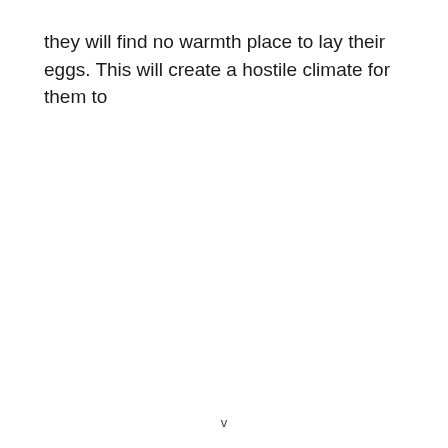they will find no warmth place to lay their eggs. This will create a hostile climate for them to
v